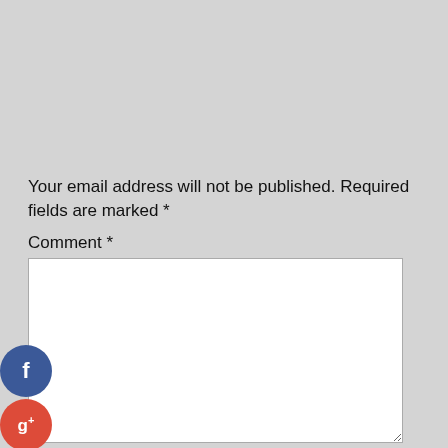Your email address will not be published. Required fields are marked *
Comment *
[Figure (screenshot): Comment form textarea (white input box) with social sharing icons on the left side: Facebook (blue circle with f), Google+ (red circle with g+), Twitter (blue circle with bird), and a dark plus circle.]
Name *
Email *
Website